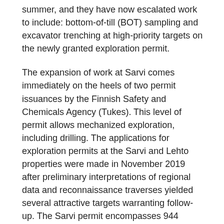summer, and they have now escalated work to include: bottom-of-till (BOT) sampling and excavator trenching at high-priority targets on the newly granted exploration permit.
The expansion of work at Sarvi comes immediately on the heels of two permit issuances by the Finnish Safety and Chemicals Agency (Tukes). This level of permit allows mechanized exploration, including drilling. The applications for exploration permits at the Sarvi and Lehto properties were made in November 2019 after preliminary interpretations of regional data and reconnaissance traverses yielded several attractive targets warranting follow-up. The Sarvi permit encompasses 944 hectares and is accessed via all-season secondary roads from the Sodankylä – Kittilä highway. The Lehto permit covers approximately 494 hectares and is also accessible by road. There remain several FireFox permit applications surrounding Sarvi,